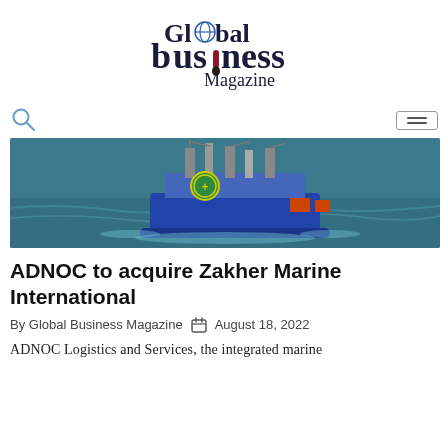[Figure (logo): Global Business Magazine logo with globe icon and red exclamation mark accent]
[Figure (photo): Aerial view of an offshore oil drilling platform/rig at sea with a helicopter landing pad]
ADNOC to acquire Zakher Marine International
By Global Business Magazine  August 18, 2022
ADNOC Logistics and Services, the integrated marine